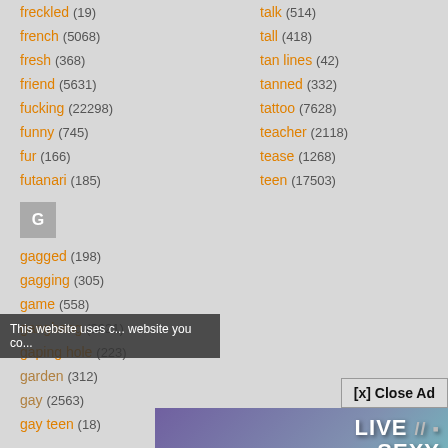freckled (19)
french (5068)
fresh (368)
friend (5631)
fucking (22298)
funny (745)
fur (166)
futanari (185)
talk (514)
tall (418)
tan lines (42)
tanned (332)
tattoo (7628)
teacher (2118)
tease (1268)
teen (17503)
G
gagged (198)
gagging (305)
game (558)
gangbang (3621)
gaping hole (223)
garden (312)
gay (2563)
gay teen (18)
This website uses c... website you co...
[Figure (photo): Adult advertisement banner with text LIVE // SEXY MODELS and FREE 120 CREDITS button]
[x] Close Ad